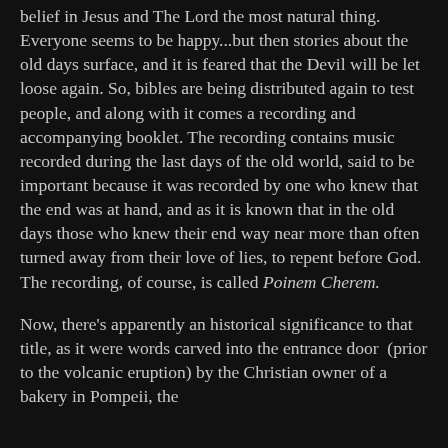belief in Jesus and The Lord the most natural thing. Everyone seems to be happy...but then stories about the old days surface, and it is feared that the Devil will be let loose again. So, bibles are being distributed again to test people, and along with it comes a recording and accompanying booklet. The recording contains music recorded during the last days of the old world, said to be important because it was recorded by one who knew that the end was at hand, and as it is known that in the old days those who knew their end way near more than often turned away from their love of lies, to repent before God. The recording, of course, is called Poinem Cherem.
Now, there's apparently an historical significance to that title, as it were words carved into the entrance door (prior to the volcanic eruption) by the Christian owner of a bakery in Pompeii, the